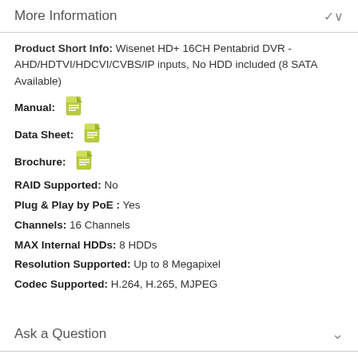More Information
Product Short Info: Wisenet HD+ 16CH Pentabrid DVR - AHD/HDTVI/HDCVI/CVBS/IP inputs, No HDD included (8 SATA Available)
Manual: [icon]
Data Sheet: [icon]
Brochure: [icon]
RAID Supported: No
Plug & Play by PoE : Yes
Channels: 16 Channels
MAX Internal HDDs: 8 HDDs
Resolution Supported: Up to 8 Megapixel
Codec Supported: H.264, H.265, MJPEG
Ask a Question
Ask a Question